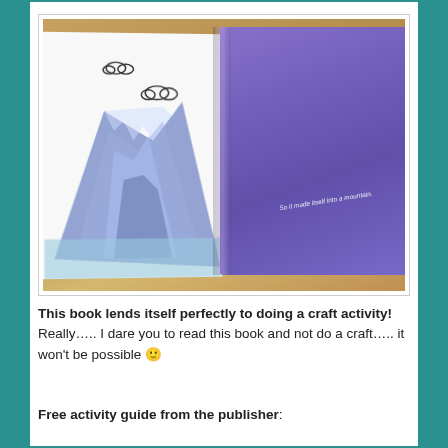[Figure (photo): An open children's book photographed on a wooden surface. The left page shows a mountain made of crumpled blue/purple paper with drawn clouds above it. The right page is solid purple with italic white text reading 'So it made itself into a mountain.']
This book lends itself perfectly to doing a craft activity! Really….. I dare you to read this book and not do a craft….. it won't be possible 🙂
Free activity guide from the publisher: